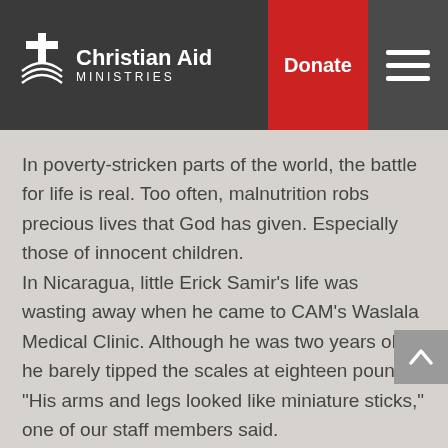Christian Aid Ministries | Donate
In poverty-stricken parts of the world, the battle for life is real. Too often, malnutrition robs precious lives that God has given. Especially those of innocent children.
In Nicaragua, little Erick Samir’s life was wasting away when he came to CAM’s Waslala Medical Clinic. Although he was two years old, he barely tipped the scales at eighteen pounds. “His arms and legs looked like miniature sticks,” one of our staff members said.